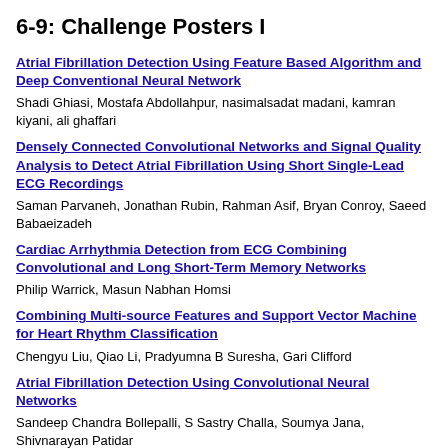6-9: Challenge Posters I
Atrial Fibrillation Detection Using Feature Based Algorithm and Deep Conventional Neural Network
Shadi Ghiasi, Mostafa Abdollahpur, nasimalsadat madani, kamran kiyani, ali ghaffari
Densely Connected Convolutional Networks and Signal Quality Analysis to Detect Atrial Fibrillation Using Short Single-Lead ECG Recordings
Saman Parvaneh, Jonathan Rubin, Rahman Asif, Bryan Conroy, Saeed Babaeizadeh
Cardiac Arrhythmia Detection from ECG Combining Convolutional and Long Short-Term Memory Networks
Philip Warrick, Masun Nabhan Homsi
Combining Multi-source Features and Support Vector Machine for Heart Rhythm Classification
Chengyu Liu, Qiao Li, Pradyumna B Suresha, Gari Clifford
Atrial Fibrillation Detection Using Convolutional Neural Networks
Sandeep Chandra Bollepalli, S Sastry Challa, Soumya Jana, Shivnarayan Patidar
Robust Feature Extraction from Noisy ECG for Atrial Fibrillation Detection
Octavian Lucian Hasna, Rodica Potolea
Rhythm and Quality Classification from Short ECGs Recorded